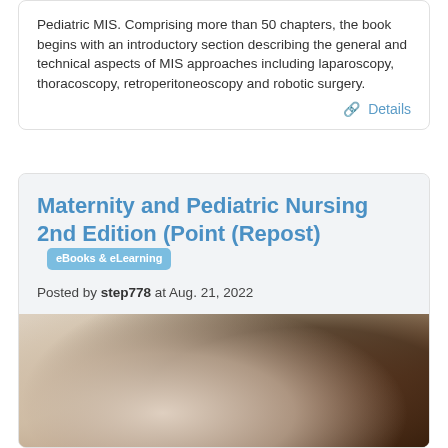Pediatric MIS. Comprising more than 50 chapters, the book begins with an introductory section describing the general and technical aspects of MIS approaches including laparoscopy, thoracoscopy, retroperitoneoscopy and robotic surgery.
🔗 Details
Maternity and Pediatric Nursing 2nd Edition (Point (Repost)
Posted by step778 at Aug. 21, 2022
[Figure (photo): Blurred book cover image showing a light beige/cream area on the left and a dark brown area on the right, likely a book spine or cover photo.]